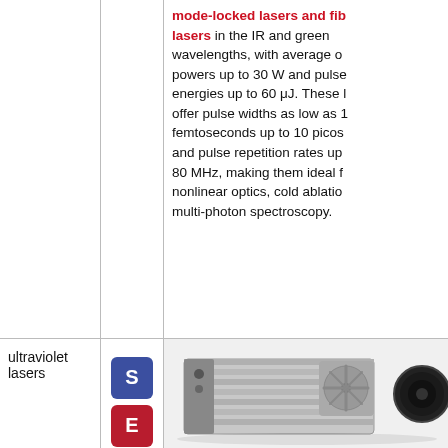mode-locked lasers and fiber lasers in the IR and green wavelengths, with average output powers up to 30 W and pulse energies up to 60 μJ. These lasers offer pulse widths as low as 100 femtoseconds up to 10 picoseconds and pulse repetition rates up to 80 MHz, making them ideal for nonlinear optics, cold ablation, and multi-photon spectroscopy.
ultraviolet lasers
[Figure (photo): Photo of an ultraviolet laser hardware unit — a rectangular finned metal heat sink enclosure with a fan, alongside a round dark lens/aperture component]